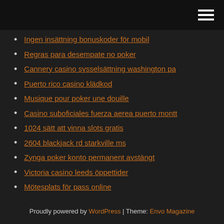[hamburger menu icon]
Ingen insättning bonuskoder för mobil
Regras para desempate no poker
Cannery casino sysselsättning washington pa
Puerto rico casino klädkod
Musique pour poker une douille
Casino suboficiales fuerza aerea puerto montt
1024 sätt att vinna slots gratis
2604 blackjack rd starkville ms
Zynga poker konto permanent avstängt
Victoria casino leeds öppettider
Mötesplats för pass online
Proudly powered by WordPress | Theme: Envo Magazine